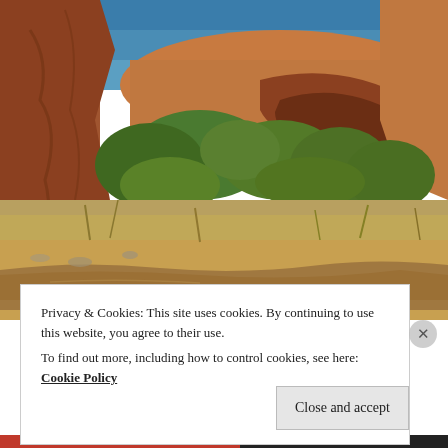[Figure (photo): Outdoor photograph of a red rock canyon landscape with a natural stone arch, green desert shrubs and trees, dry grass, and a muddy shallow creek or stream in the foreground under a blue sky.]
Privacy & Cookies: This site uses cookies. By continuing to use this website, you agree to their use.
To find out more, including how to control cookies, see here: Cookie Policy
Close and accept